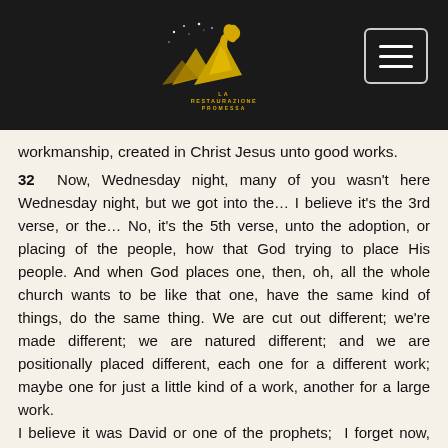[Figure (logo): La Restaurazione Promessa logo — golden mountain peaks with stars and a golden fist/head shape above text 'LA RESTAURAZIONE PROMESSA' on dark background]
workmanship, created in Christ Jesus unto good works.
32  Now, Wednesday night, many of you wasn't here Wednesday night, but we got into the... I believe it's the 3rd verse, or the... No, it's the 5th verse, unto the adoption, or placing of the people, how that God trying to place His people. And when God places one, then, oh, all the whole church wants to be like that one, have the same kind of things, do the same thing. We are cut out different; we're made different; we are natured different; and we are positionally placed different, each one for a different work; maybe one for just a little kind of a work, another for a large work.
I believe it was David or one of the prophets; I forget now, said, "I would rather be a doormat at the house of